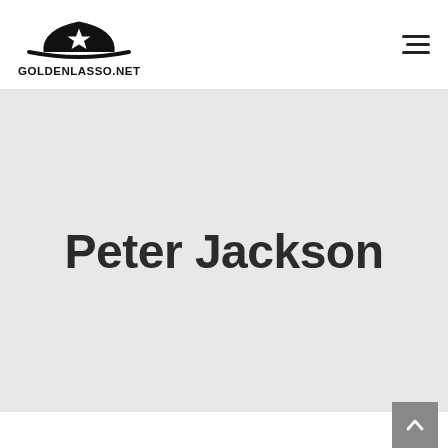[Figure (logo): GoldenLasso.net logo: black crown/hat shape with a star, above the text GOLDENLASSO.NET in bold black capitals]
Peter Jackson